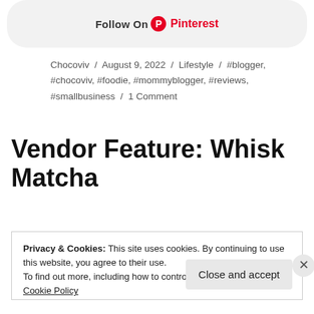[Figure (other): Follow On Pinterest button bar with Pinterest logo]
Chocoviv / August 9, 2022 / Lifestyle / #blogger, #chocoviv, #foodie, #mommyblogger, #reviews, #smallbusiness / 1 Comment
Vendor Feature: Whisk Matcha
Privacy & Cookies: This site uses cookies. By continuing to use this website, you agree to their use.
To find out more, including how to control cookies, see here:
Cookie Policy
Close and accept